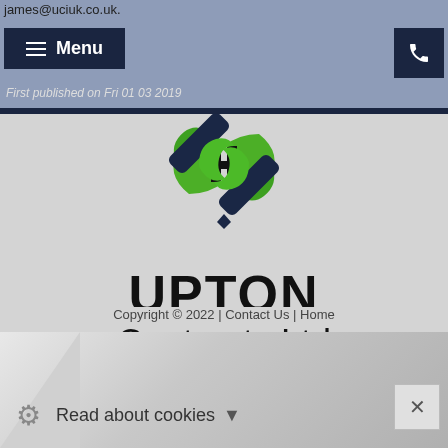james@uciuk.co.uk.
≡ Menu
First published on Fri 01 03 2019
[Figure (logo): Upton Contracts Ltd logo with interlinked green and dark blue shapes forming a knot pattern with a black H letter in center]
UPTON Contracts Ltd
Copyright © 2022 | Contact Us | Home
Read about cookies ▼
✕